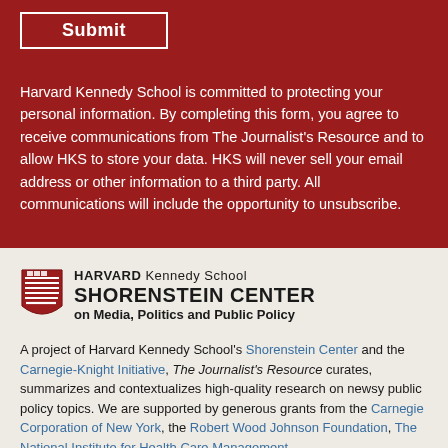Submit
Harvard Kennedy School is committed to protecting your personal information. By completing this form, you agree to receive communications from The Journalist's Resource and to allow HKS to store your data. HKS will never sell your email address or other information to a third party. All communications will include the opportunity to unsubscribe.
[Figure (logo): Harvard Kennedy School Shorenstein Center on Media, Politics and Public Policy logo with shield]
A project of Harvard Kennedy School's Shorenstein Center and the Carnegie-Knight Initiative, The Journalist's Resource curates, summarizes and contextualizes high-quality research on newsy public policy topics. We are supported by generous grants from the Carnegie Corporation of New York, the Robert Wood Johnson Foundation, The National Institute for Health Care Management